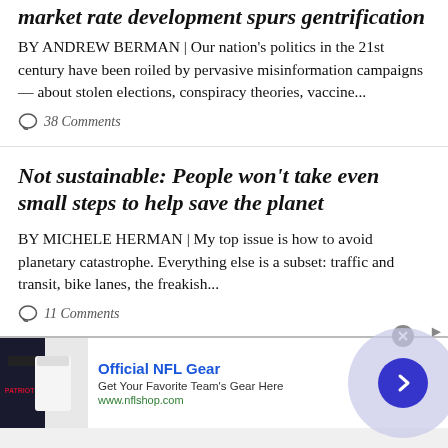market rate development spurs gentrification
BY ANDREW BERMAN | Our nation's politics in the 21st century have been roiled by pervasive misinformation campaigns — about stolen elections, conspiracy theories, vaccine...
38 Comments
Not sustainable: People won't take even small steps to help save the planet
BY MICHELE HERMAN | My top issue is how to avoid planetary catastrophe. Everything else is a subset: traffic and transit, bike lanes, the freakish...
11 Comments
[Figure (screenshot): Advertisement banner for Official NFL Gear showing NFL jerseys, text 'Official NFL Gear', 'Get Your Favorite Team's Gear Here', 'www.nflshop.com', a forward arrow button, and a close button.]